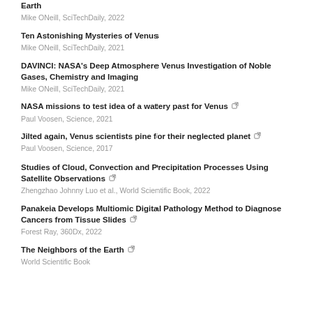Earth
Mike ONeill, SciTechDaily, 2022
Ten Astonishing Mysteries of Venus
Mike ONeill, SciTechDaily, 2021
DAVINCI: NASA's Deep Atmosphere Venus Investigation of Noble Gases, Chemistry and Imaging
Mike ONeill, SciTechDaily, 2021
NASA missions to test idea of a watery past for Venus
Paul Voosen, Science, 2021
Jilted again, Venus scientists pine for their neglected planet
Paul Voosen, Science, 2017
Studies of Cloud, Convection and Precipitation Processes Using Satellite Observations
Zhengzhao Johnny Luo et al., World Scientific Book, 2022
Panakeia Develops Multiomic Digital Pathology Method to Diagnose Cancers from Tissue Slides
Forest Ray, 360Dx, 2022
The Neighbors of the Earth
World Scientific Book